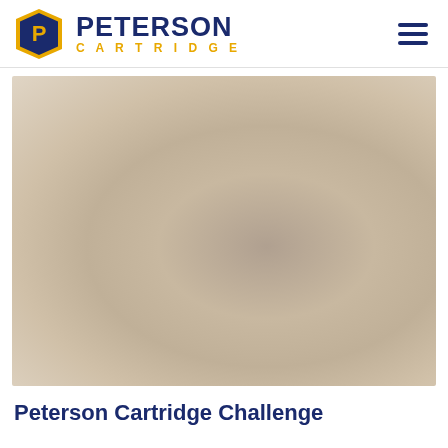PETERSON CARTRIDGE
[Figure (photo): A blurred outdoor photo with muted tan, beige and brown tones, likely showing a shooting or hunting scene. The image is heavily blurred/de-focused, revealing no distinct subjects.]
Peterson Cartridge Challenge